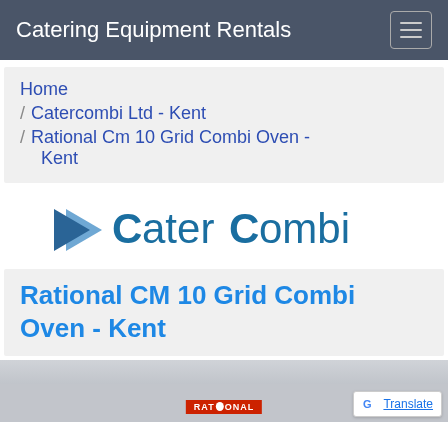Catering Equipment Rentals
Home / Catercombi Ltd - Kent / Rational Cm 10 Grid Combi Oven - Kent
[Figure (logo): CaterCombi company logo with blue triangular chevron icon and 'CaterCombi' text in teal/dark blue]
Rational CM 10 Grid Combi Oven - Kent
[Figure (photo): Partial photo of a building exterior with RATIONAL signage, and a Google Translate button overlay in the bottom right corner]